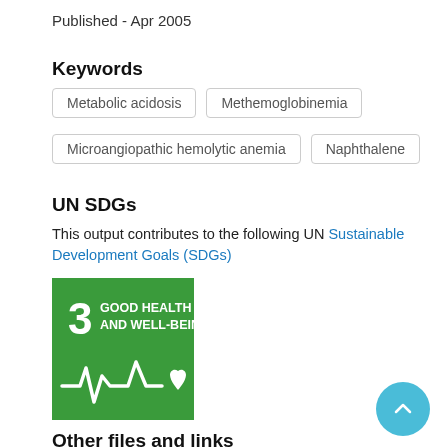Published - Apr 2005
Keywords
Metabolic acidosis
Methemoglobinemia
Microangiopathic hemolytic anemia
Naphthalene
UN SDGs
This output contributes to the following UN Sustainable Development Goals (SDGs)
[Figure (logo): SDG 3 badge: green square with white text 'GOOD HEALTH AND WELL-BEING', number 3, and a health/heartbeat icon with a heart]
Other files and links
Link to publication in Scopus